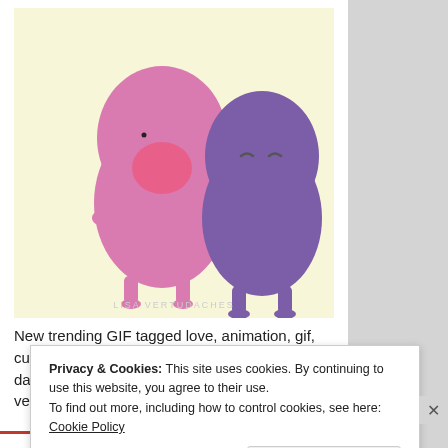[Figure (illustration): Cartoon illustration on pale yellow background: a pink blob character holding a bouquet of pink flowers offering them to a purple blob character. Text watermark at bottom: LISA VERTUDACHES]
New trending GIF tagged love, animation, gif, cute, animated gif, flowers, romance, valentines day, romantic, valentines, gift, bffs, lisa vertudaches,
Privacy & Cookies: This site uses cookies. By continuing to use this website, you agree to their use.
To find out more, including how to control cookies, see here: Cookie Policy
Close and accept